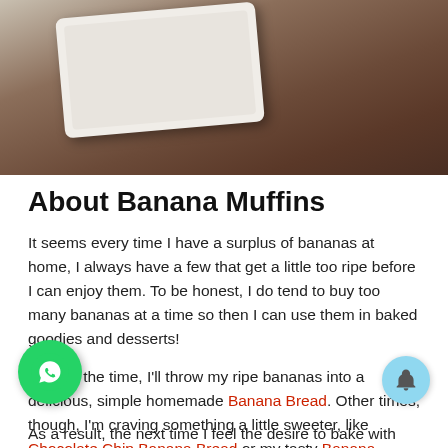[Figure (photo): A white ceramic plate or dish photographed on a dark reddish-brown wooden surface, shown from above at an angle. The image is cropped so only the edge of the plate and the wooden background are visible.]
About Banana Muffins
It seems every time I have a surplus of bananas at home, I always have a few that get a little too ripe before I can enjoy them. To be honest, I do tend to buy too many bananas at a time so then I can use them in baked goodies and desserts!
Most of the time, I'll throw my ripe bananas into a delicious, simple homemade Banana Bread. Other times, though, I'm craving something a little sweeter, like Chocolate Chip Banana Bread or my tasty Banana Cake.
As a result, the next time I feel the desire to bake with...